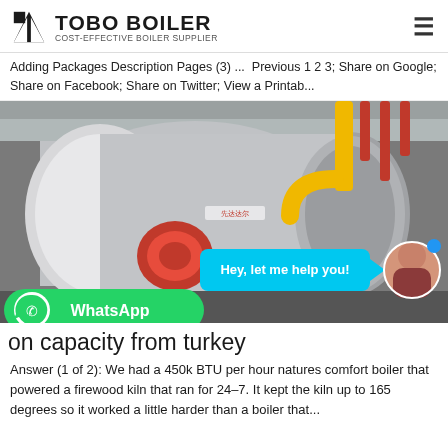TOBO BOILER — COST-EFFECTIVE BOILER SUPPLIER
Adding Packages Description Pages (3) ... Previous 1 2 3; Share on Google; Share on Facebook; Share on Twitter; View a Printab...
[Figure (photo): Industrial gas-fired boiler unit in a facility, with yellow gas pipes and a red burner visible. Chat widget overlay with 'Hey, let me help you!' bubble and female avatar. WhatsApp button overlay.]
on capacity from turkey
Answer (1 of 2): We had a 450k BTU per hour natures comfort boiler that powered a firewood kiln that ran for 24–7. It kept the kiln up to 165 degrees so it worked a little harder than a boiler that...